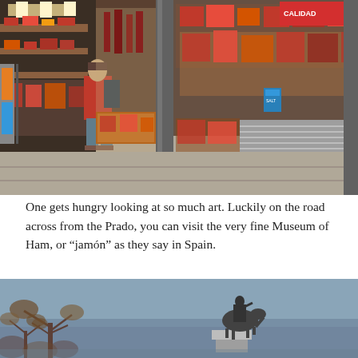[Figure (photo): A street-level view of a delicatessen or ham shop storefront. A person in a red jacket stands looking at the display window filled with cured meats and food products. The right side shows shelves of packaged meats and products through a large glass window.]
One gets hungry looking at so much art. Luckily on the road across from the Prado, you can visit the very fine Museum of Ham, or “jamón” as they say in Spain.
[Figure (photo): A blue sky with bare trees and an equestrian statue visible in the distance, likely near the Prado museum area in Madrid, Spain.]